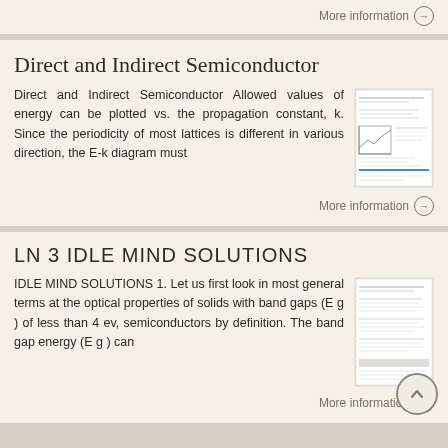More information →
Direct and Indirect Semiconductor
Direct and Indirect Semiconductor Allowed values of energy can be plotted vs. the propagation constant, k. Since the periodicity of most lattices is different in various direction, the E-k diagram must
More information →
LN 3 IDLE MIND SOLUTIONS
IDLE MIND SOLUTIONS 1. Let us first look in most general terms at the optical properties of solids with band gaps (E g ) of less than 4 ev, semiconductors by definition. The band gap energy (E g ) can
More information →